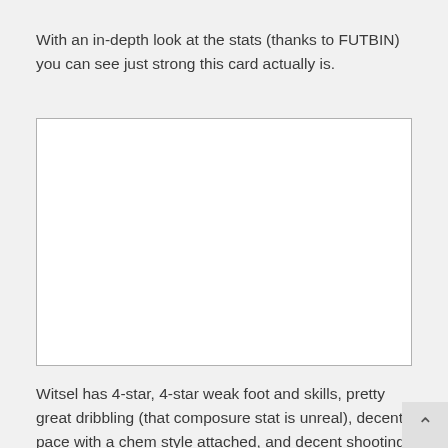With an in-depth look at the stats (thanks to FUTBIN) you can see just strong this card actually is.
[Figure (other): Empty white image box with light gray border, placeholder for a stats image from FUTBIN.]
Witsel has 4-star, 4-star weak foot and skills, pretty great dribbling (that composure stat is unreal), decent pace with a chem style attached, and decent shooting stats. In terms of an attacking card, Witsel also has fantastic defending stats and would make a strong CAM to hold up possession and get balls in behind the defense.